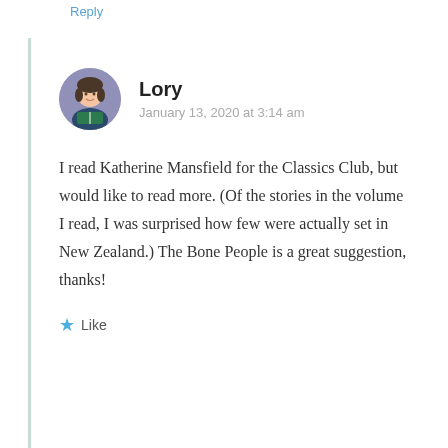Reply
Lory
January 13, 2020 at 3:14 am
I read Katherine Mansfield for the Classics Club, but would like to read more. (Of the stories in the volume I read, I was surprised how few were actually set in New Zealand.) The Bone People is a great suggestion, thanks!
Like